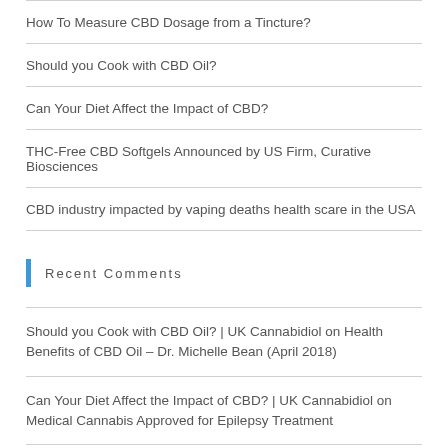How To Measure CBD Dosage from a Tincture?
Should you Cook with CBD Oil?
Can Your Diet Affect the Impact of CBD?
THC-Free CBD Softgels Announced by US Firm, Curative Biosciences
CBD industry impacted by vaping deaths health scare in the USA
Recent Comments
Should you Cook with CBD Oil? | UK Cannabidiol on Health Benefits of CBD Oil – Dr. Michelle Bean (April 2018)
Can Your Diet Affect the Impact of CBD? | UK Cannabidiol on Medical Cannabis Approved for Epilepsy Treatment
AffiliateLabz on CBD industry impacted by vaping deaths health scare in the USA
Medical Cannabis Approved for Epilepsy Treatment | UK Cannabidiol on The